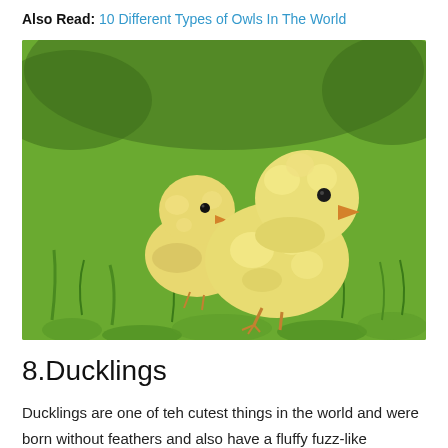Also Read: 10 Different Types of Owls In The World
[Figure (photo): Two fluffy yellow baby chicks sitting on green grass, facing right]
8.Ducklings
Ducklings are one of teh cutest things in the world and were born without feathers and also have a fluffy fuzz-like